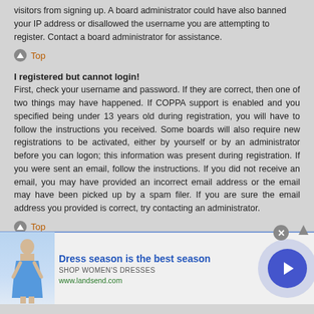visitors from signing up. A board administrator could have also banned your IP address or disallowed the username you are attempting to register. Contact a board administrator for assistance.
Top
I registered but cannot login!
First, check your username and password. If they are correct, then one of two things may have happened. If COPPA support is enabled and you specified being under 13 years old during registration, you will have to follow the instructions you received. Some boards will also require new registrations to be activated, either by yourself or by an administrator before you can logon; this information was present during registration. If you were sent an email, follow the instructions. If you did not receive an email, you may have provided an incorrect email address or the email may have been picked up by a spam filer. If you are sure the email address you provided is correct, try contacting an administrator.
Top
Why can't I login?
[Figure (other): Advertisement banner: Dress season is the best season - Shop Women's Dresses - www.landsend.com, with image of woman in blue dress and navigation arrow button]